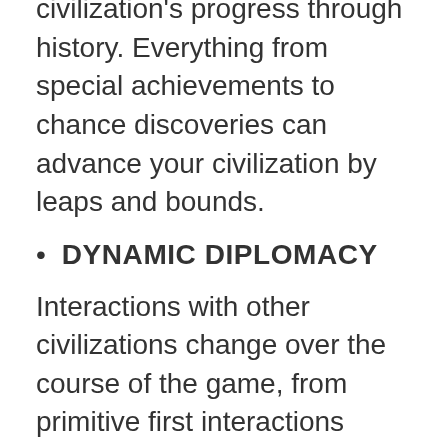unlock tech boosts that speed your civilization's progress through history. Everything from special achievements to chance discoveries can advance your civilization by leaps and bounds.
DYNAMIC DIPLOMACY
Interactions with other civilizations change over the course of the game, from primitive first interactions where conflict is a fact of life, to late-game alliances and complex negotiations.
GREAT AGES
As your civilization ebbs and flows, and you.